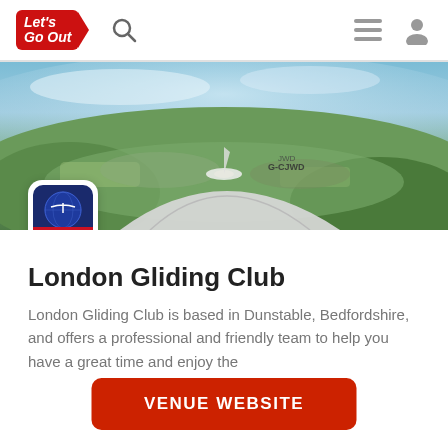Let's Go Out — navigation bar with logo, search, hamburger menu, user icon
[Figure (photo): Aerial panoramic fisheye photo of a glider (registration G-CJWD) flying over Dunstable, Bedfordshire, UK. The London Gliding Club logo badge is overlaid bottom-left of the hero image.]
London Gliding Club
London Gliding Club is based in Dunstable, Bedfordshire, and offers a professional and friendly team to help you have a great time and enjoy the
VENUE WEBSITE